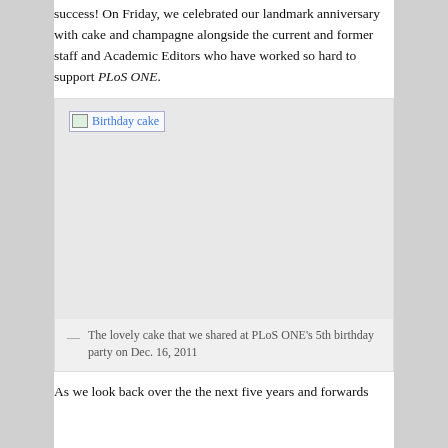success! On Friday, we celebrated our landmark anniversary with cake and champagne alongside the current and former staff and Academic Editors who have worked so hard to support PLoS ONE.
[Figure (photo): Birthday cake image (broken/placeholder image link shown as 'Birthday cake')]
The lovely cake that we shared at PLoS ONE's 5th birthday party on Dec. 16, 2011
As we look back over the the next five years and forwards